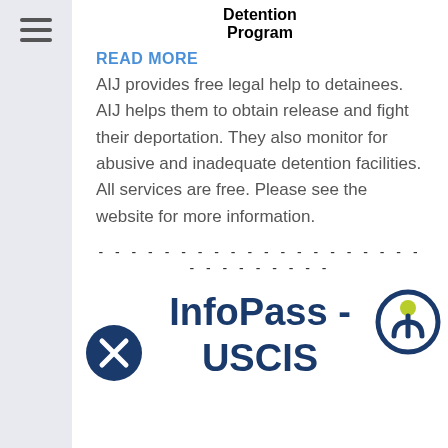Detention Program
READ MORE
AIJ provides free legal help to detainees. AIJ helps them to obtain release and fight their deportation. They also monitor for abusive and inadequate detention facilities. All services are free. Please see the website for more information.
InfoPass - USCIS